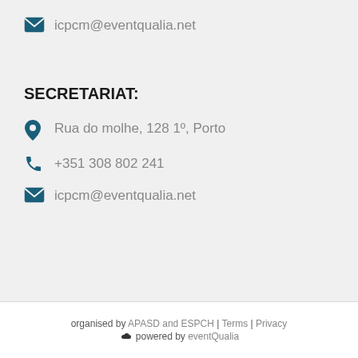icpcm@eventqualia.net
SECRETARIAT:
Rua do molhe, 128 1º, Porto
+351 308 802 241
icpcm@eventqualia.net
organised by APASD and ESPCH | Terms | Privacy  powered by eventQualia